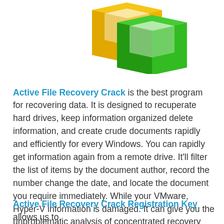[Figure (illustration): Software logo showing overlapping 3D box shapes in yellow/orange and green colors]
Active File Recovery Crack is the best program for recovering data. It is designed to recuperate hard drives, keep information organized delete information, and create crude documents rapidly and efficiently for every Windows. You can rapidly get information again from a remote drive. It'll filter the list of items by the document author, record the number change the date, and locate the document you require immediately. While your VMware, Hyper-V information is damaged. It can give you the unproblematic analysis of concentrated recovery frameworks for any applications you have in mind. You can rebuild damaged segments, boot chief, due to HDD re-segment or boot administrator, and much more.
Active File Recovery Crack Registration Key allows us to